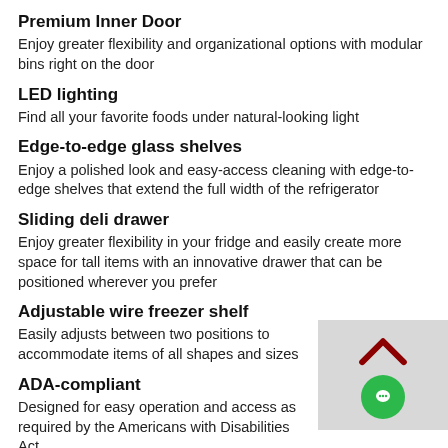Premium Inner Door
Enjoy greater flexibility and organizational options with modular bins right on the door
LED lighting
Find all your favorite foods under natural-looking light
Edge-to-edge glass shelves
Enjoy a polished look and easy-access cleaning with edge-to-edge shelves that extend the full width of the refrigerator
Sliding deli drawer
Enjoy greater flexibility in your fridge and easily create more space for tall items with an innovative drawer that can be positioned wherever you prefer
Adjustable wire freezer shelf
Easily adjusts between two positions to accommodate items of all shapes and sizes
ADA-compliant
Designed for easy operation and access as required by the Americans with Disabilities Act